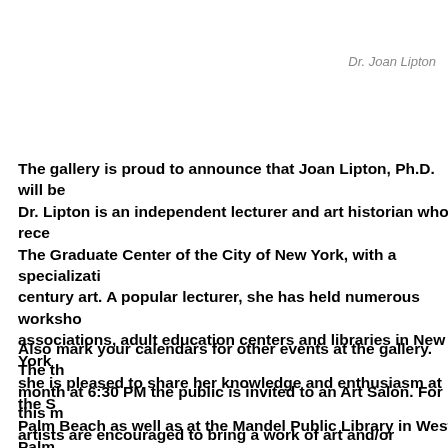Dr. Joan Lipton
The gallery is proud to announce that Joan Lipton, Ph.D. will be Dr. Lipton is an independent lecturer and art historian who rece The Graduate Center of the City of New York, with a specializati century art. A popular lecturer, she has held numerous worksho associations, adult education centers and libraries in New York she is pleased to share her knowledge and enthusiasm at the S Palm Beach as well as at the Mandel Public Library in West Palm
Also mark your calendars for other events at the gallery. The th month at 6:30 PM the public is invited to an Art Salon. For this m artists are encouraged to bring a work of art and/or refreshmen Admission is free for members of APBC, but the general public event for a $5.00 admission fee. Payment will be collected at the